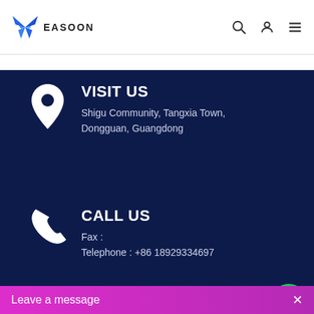EASOON
VISIT US
Shigu Community, Tangxia Town, Dongguan, Guangdong
CALL US
Fax :
Telephone : +86 18929334697
CONTACT US
sales@easoonmade.com
Leave a message